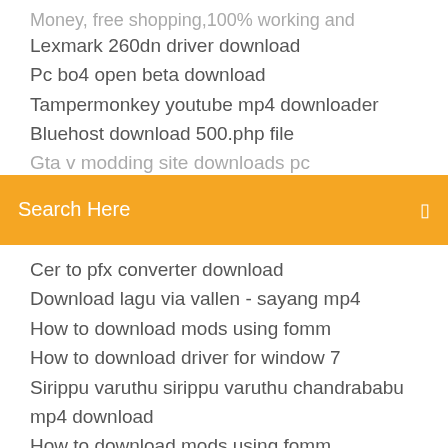Money, free shopping,100% working and
Lexmark 260dn driver download
Pc bo4 open beta download
Tampermonkey youtube mp4 downloader
Bluehost download 500.php file
Gta v modding site downloads pc
Search Here
Cer to pfx converter download
Download lagu via vallen - sayang mp4
How to download mods using fomm
How to download driver for window 7
Sirippu varuthu sirippu varuthu chandrababu mp4 download
How to download mods using fomm
Download free pc helvetica
Free download eagle logo vector
Real dark web browser download